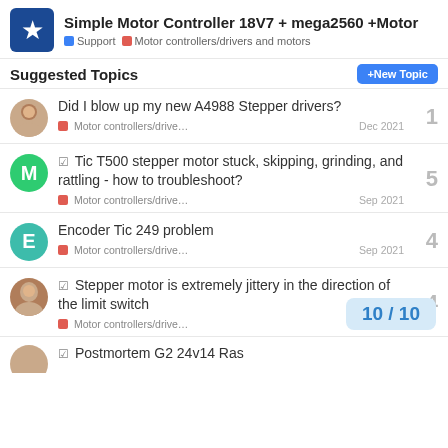Simple Motor Controller 18V7 + mega2560 +Motor | Support | Motor controllers/drivers and motors
Suggested Topics
Did I blow up my new A4988 Stepper drivers? | Motor controllers/drive... | Dec 2021 | 1
✓ Tic T500 stepper motor stuck, skipping, grinding, and rattling - how to troubleshoot? | Motor controllers/drive... | Sep 2021 | 5
Encoder Tic 249 problem | Motor controllers/drive... | Sep 2021 | 4
✓ Stepper motor is extremely jittery in the direction of the limit switch | Motor controllers/drive... | 4
✓ Postmortem G2 24v14 Ras...